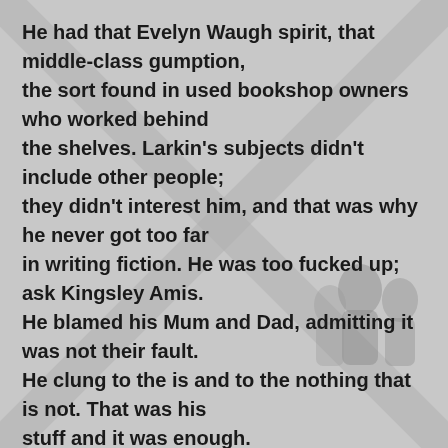[Figure (illustration): Faded background with diagonal cross/X pattern overlaid with silhouetted figures of people, rendered in grey tones]
He had that Evelyn Waugh spirit, that middle-class gumption,
the sort found in used bookshop owners who worked behind
the shelves. Larkin's subjects didn't include other people;
they didn't interest him, and that was why he never got too far
in writing fiction. He was too fucked up; ask Kingsley Amis.
He blamed his Mum and Dad, admitting it was not their fault.
He clung to the is and to the nothing that is not. That was his
stuff and it was enough.

My man was Wallace Stevens, a man who'd have preferred